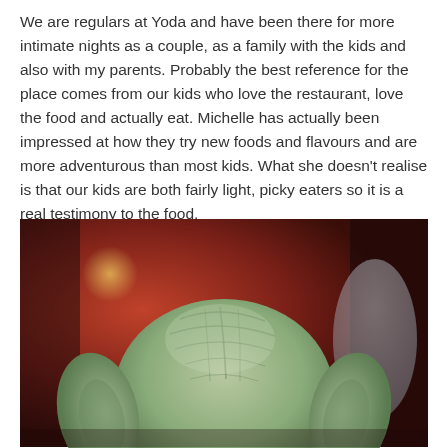We are regulars at Yoda and have been there for more intimate nights as a couple, as a family with the kids and also with my parents. Probably the best reference for the place comes from our kids who love the restaurant, love the food and actually eat. Michelle has actually been impressed at how they try new foods and flavours and are more adventurous than most kids. What she doesn't realise is that our kids are both fairly light, picky eaters so it is a real testimony to the food.
[Figure (photo): A close-up photograph of the back of a Yoda figurine/statue head with large ears, greenish skin with textured lines, set against a blurred dark reddish-brown restaurant interior background with a warm bokeh light.]